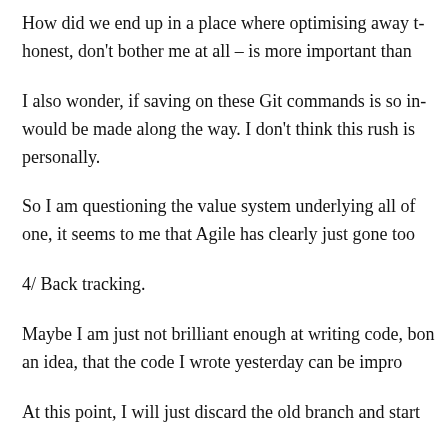How did we end up in a place where optimising away t... honest, don't bother me at all – is more important than...
I also wonder, if saving on these Git commands is so im... would be made along the way. I don't think this rush is... personally.
So I am questioning the value system underlying all of... one, it seems to me that Agile has clearly just gone too...
4/ Back tracking.
Maybe I am just not brilliant enough at writing code, b... on an idea, that the code I wrote yesterday can be impro...
At this point, I will just discard the old branch and start...
That's not a possibility if I have already committed on...